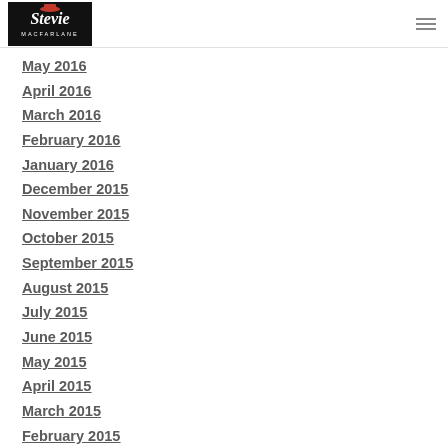Stevie MacFarlane – navigation logo and menu icon
May 2016
April 2016
March 2016
February 2016
January 2016
December 2015
November 2015
October 2015
September 2015
August 2015
July 2015
June 2015
May 2015
April 2015
March 2015
February 2015